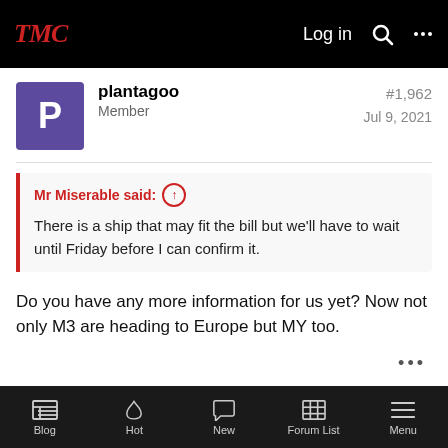TMC forum header with Log in, search, and menu icons
plantagoo
Member
#1,962
Jul 9, 2021
Mr Miserable said: ↑
There is a ship that may fit the bill but we'll have to wait until Friday before I can confirm it.
Do you have any more information for us yet? Now not only M3 are heading to Europe but MY too.
Fishyscott
#1,963
Blog | Hot | New | Forum List | Menu